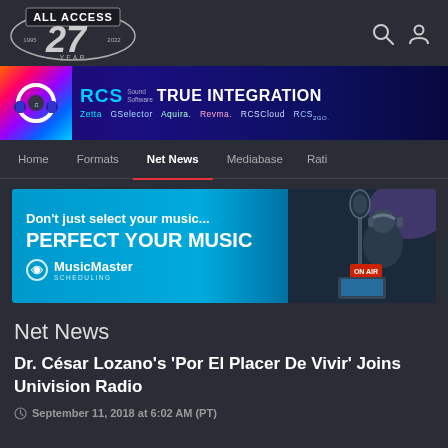[Figure (logo): All Access 27 Year logo (1995-2022), silver and white badge style]
[Figure (illustration): RCS Sound Software TRUE INTEGRATION banner ad showing products: Zetta, GSelector, Aquira, Revma, RCSCloud, RCS2GO]
Home | Formats | Net News | Mediabase | Rati
[Figure (illustration): MusicMaster Scheduling ad: Don't just select your music... PERFECT YOUR MUSIC, with DJ photo in dark studio]
Net News
Dr. César Lozano's 'Por El Placer De Vivir' Joins Univision Radio
September 11, 2018 at 6:02 AM (PT)